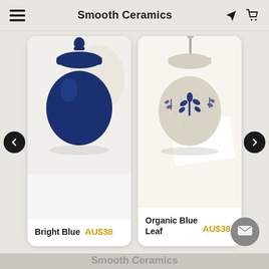Smooth Ceramics
[Figure (photo): Blue ceramic round pot with orange stripe and lid, on white background — product photo for 'Bright Blue']
Bright Blue  AU$38
[Figure (photo): Beige/cream ceramic round pot with blue leaf floral pattern and lid, on white background — product photo for 'Organic Blue Leaf']
Organic Blue Leaf  AU$38
Smooth Ceramics